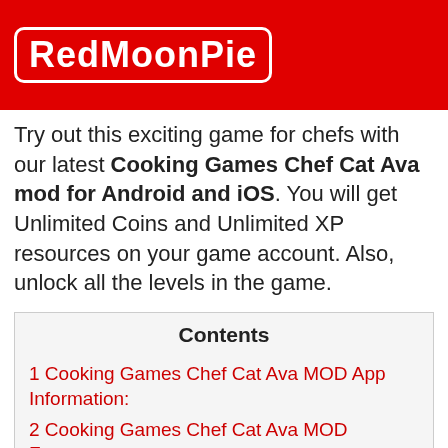RedMoonPie
Try out this exciting game for chefs with our latest Cooking Games Chef Cat Ava mod for Android and iOS. You will get Unlimited Coins and Unlimited XP resources on your game account. Also, unlock all the levels in the game.
| Contents |
| --- |
| 1 Cooking Games Chef Cat Ava MOD App Information: |
| 2 Cooking Games Chef Cat Ava MOD Features: |
| 3 About the game |
| 4 About the game in detail |
| 5 Exciting features |
Cooking Games Chef Cat Av…